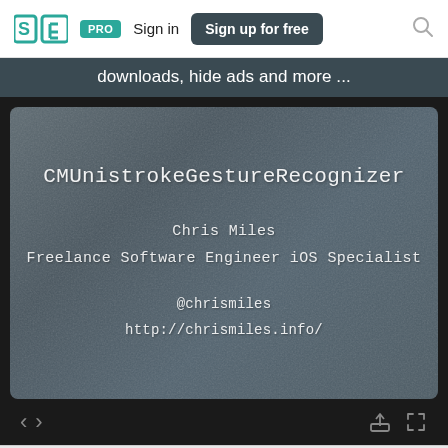SpeakerDeck — PRO  Sign in  Sign up for free
downloads, hide ads and more ...
[Figure (screenshot): Presentation slide on chalkboard background showing title 'CMUnistrokeGestureRecognizer', author 'Chris Miles', role 'Freelance Software Engineer iOS Specialist', and contact info '@chrismiles' and 'http://chrismiles.info/']